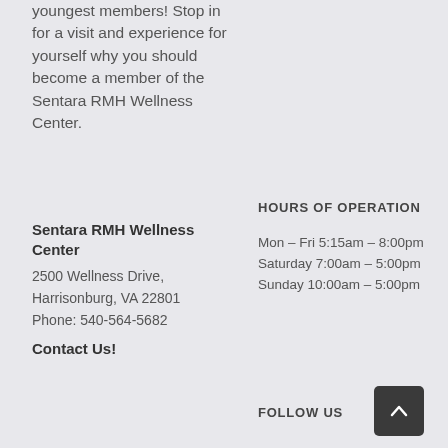youngest members! Stop in for a visit and experience for yourself why you should become a member of the Sentara RMH Wellness Center.
Sentara RMH Wellness Center
2500 Wellness Drive, Harrisonburg, VA 22801
Phone: 540-564-5682
Contact Us!
HOURS OF OPERATION
Mon – Fri 5:15am – 8:00pm
Saturday 7:00am – 5:00pm
Sunday 10:00am – 5:00pm
FOLLOW US